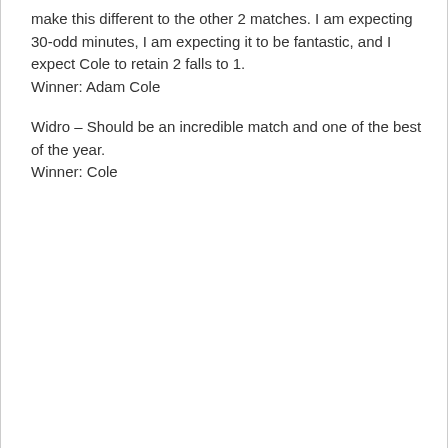make this different to the other 2 matches. I am expecting 30-odd minutes, I am expecting it to be fantastic, and I expect Cole to retain 2 falls to 1.
Winner: Adam Cole
Widro – Should be an incredible match and one of the best of the year.
Winner: Cole